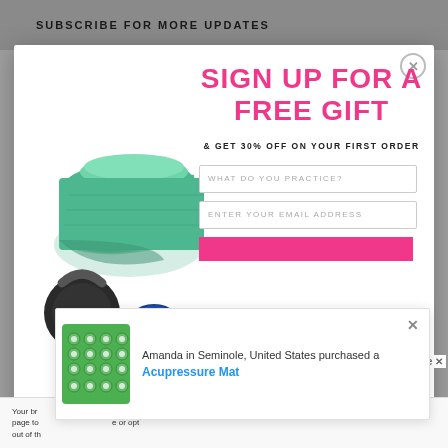SUBSCRIBE FOR MORE UPDATES
SIGN UP FOR A FREE GIFT
& GET 30% OFF ON YOUR FIRST ORDER
[Figure (photo): Fitness equipment: rolled green yoga mat, black kettlebell, blue foam roller]
WHAT DO YOU PRACTICE?
ENTER YOUR EMAIL ADDRESS
Amanda in Seminole, United States purchased a Acupressure Mat
[Figure (photo): Green acupressure mat with white spikes]
Your br... on this page to... e or opt out of th...